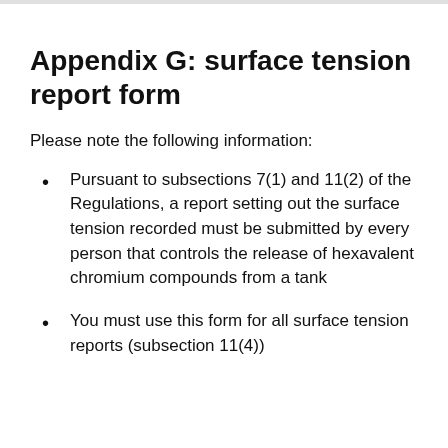Appendix G: surface tension report form
Please note the following information:
Pursuant to subsections 7(1) and 11(2) of the Regulations, a report setting out the surface tension recorded must be submitted by every person that controls the release of hexavalent chromium compounds from a tank
You must use this form for all surface tension reports (subsection 11(4))